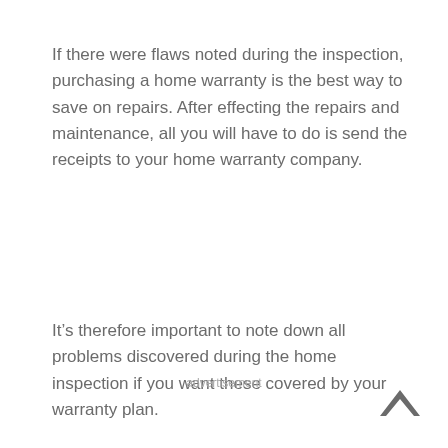If there were flaws noted during the inspection, purchasing a home warranty is the best way to save on repairs. After effecting the repairs and maintenance, all you will have to do is send the receipts to your home warranty company.
It’s therefore important to note down all problems discovered during the home inspection if you want these covered by your warranty plan.
advertisement